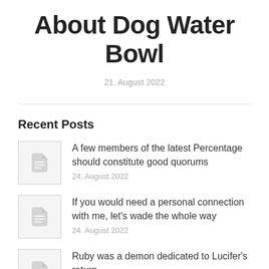About Dog Water Bowl
21. August 2022
Recent Posts
A few members of the latest Percentage should constitute good quorums
24. August 2022
If you would need a personal connection with me, let's wade the whole way
24. August 2022
Ruby was a demon dedicated to Lucifer's return